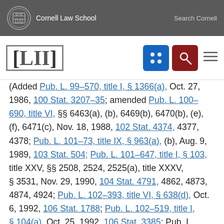Cornell Law School | Search Cornell
[LII]
(Added Pub. L. 99–570, title I, §1366(a), Oct. 27, 1986, 100 Stat. 3207–35; amended Pub. L. 100–690, title VI, §§6463(a), (b), 6469(b), 6470(b), (e), (f), 6471(c), Nov. 18, 1988, 102 Stat. 4374, 4377, 4378; Pub. L. 101–73, title IX, §963(a), (b), Aug. 9, 1989, 103 Stat. 504; Pub. L. 101–647, title I, §103, title XXV, §§2508, 2524, 2525(a), title XXXV, §3531, Nov. 29, 1990, 104 Stat. 4791, 4862, 4873, 4874, 4924; Pub. L. 102–393, title VI, §638(d), Oct. 6, 1992, 106 Stat. 1788; Pub. L. 102–519, title I, §104(a), Oct. 25, 1992, 106 Stat. 3385; Pub. L. 102–550, title XV, §§1525(c)(1), 1533, Oct. 28, 1992, 106 Stat. 4065, 4066; Pub. L. 102–322, title XXXIII…